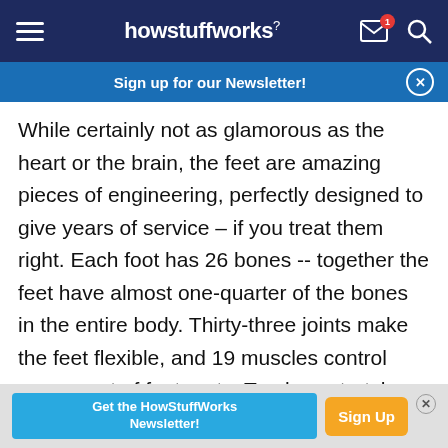howstuffworks
Sign up for our Newsletter!
While certainly not as glamorous as the heart or the brain, the feet are amazing pieces of engineering, perfectly designed to give years of service – if you treat them right. Each foot has 26 bones -- together the feet have almost one-quarter of the bones in the entire body. Thirty-three joints make the feet flexible, and 19 muscles control movement of foot parts. Tendons stretch tautly between muscles and bones, moving parts of the feet as the muscles contract. Two arches in the midfoot and forefoot,
Get the HowStuffWorks Newsletter! Sign Up